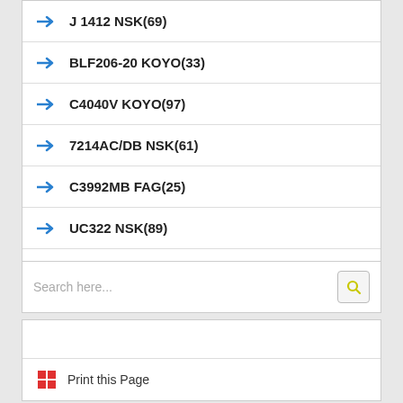J 1412 NSK(69)
BLF206-20 KOYO(33)
C4040V KOYO(97)
7214AC/DB NSK(61)
C3992MB FAG(25)
UC322 NSK(89)
2319K H2319 NACHI(53)
Search here...
Print this Page